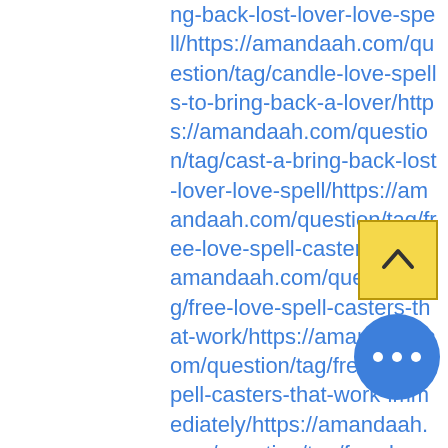ng-back-lost-lover-love-spell/https://amandaah.com/question/tag/candle-love-spells-to-bring-back-a-lover/https://amandaah.com/question/tag/cast-a-bring-back-lost-lover-love-spell/https://amandaah.com/question/tag/free-love-spell-caster/https://amandaah.com/question/tag/free-love-spell-casters-that-work/https://amandaah.com/question/tag/free-love-spell-casters-that-work-immediately/https://amandaah.com/question/tag/free-love-spells/https://amandaah.com/question/tag/free-love-spells-that-work-instantly/https://amandaah.com/question/how-to-bring-back-lost-lover-24-hours/https://amandaah.com/question/tag/how-to-cast-a-love-spell/https://amandaah.com/question/tag/how-to-cast-a-love-spell-on-my-ex/https://amandaah.com/question/tag/how-
[Figure (other): Scroll to top button - yellow square button with upward chevron arrow]
[Figure (other): More options button - blue circle with three horizontal dots]